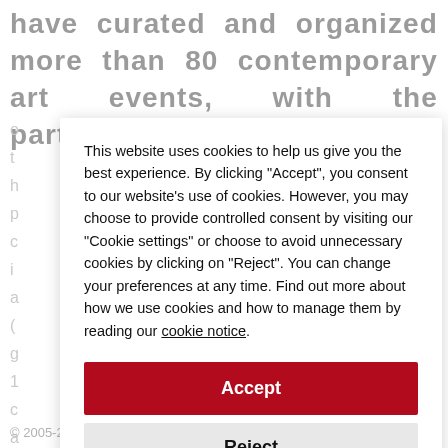have curated and organized more than 80 contemporary art events, with the participation
This website uses cookies to help us give you the best experience. By clicking "Accept", you consent to our website's use of cookies. However, you may choose to provide controlled consent by visiting our "Cookie settings" or choose to avoid unnecessary cookies by clicking on "Reject". You can change your preferences at any time. Find out more about how we use cookies and how to manage them by reading our cookie notice.
Accept
Reject
Cookie settings
© 2005-2022 ITSLIQUID Group